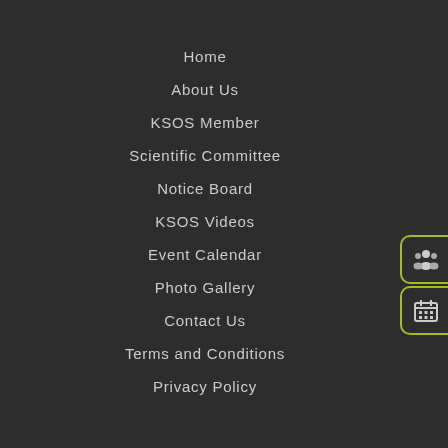Home
About Us
KSOS Member
Scientific Committee
Notice Board
KSOS Videos
Event Calendar
Photo Gallery
Contact Us
Terms and Conditions
Privacy Policy
[Figure (illustration): Two circular icon buttons on the right side: one with a group of people icon, one with a calendar icon, both with lime-green borders]